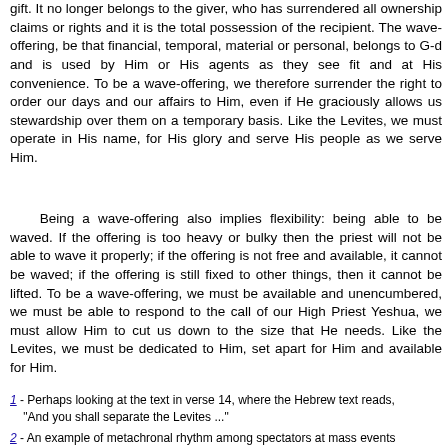gift. It no longer belongs to the giver, who has surrendered all ownership claims or rights and it is the total possession of the recipient. The wave-offering, be that financial, temporal, material or personal, belongs to G-d and is used by Him or His agents as they see fit and at His convenience. To be a wave-offering, we therefore surrender the right to order our days and our affairs to Him, even if He graciously allows us stewardship over them on a temporary basis. Like the Levites, we must operate in His name, for His glory and serve His people as we serve Him.
Being a wave-offering also implies flexibility: being able to be waved. If the offering is too heavy or bulky then the priest will not be able to wave it properly; if the offering is not free and available, it cannot be waved; if the offering is still fixed to other things, then it cannot be lifted. To be a wave-offering, we must be available and unencumbered, we must be able to respond to the call of our High Priest Yeshua, we must allow Him to cut us down to the size that He needs. Like the Levites, we must be dedicated to Him, set apart for Him and available for Him.
1 - Perhaps looking at the text in verse 14, where the Hebrew text reads, "And you shall separate the Levites ..."
2 - An example of metachronal rhythm among spectators at mass events